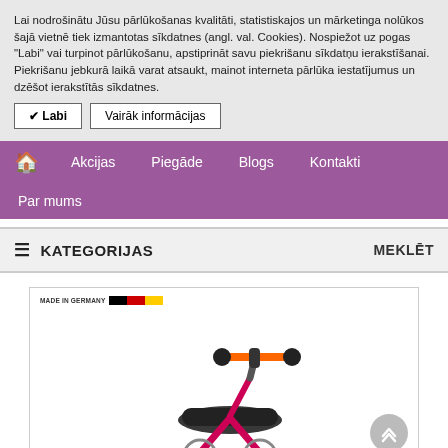Lai nodrošinātu Jūsu pārlūkošanas kvalitāti, statistiskajos un mārketinga nolūkos šajā vietnē tiek izmantotas sīkdatnes (angl. val. Cookies). Nospiežot uz pogas "Labi" vai turpinot pārlūkošanu, apstiprināt savu piekrišanu sīkdatņu ierakstīšanai. Piekrišanu jebkurā laikā varat atsaukt, mainot interneta pārlūka iestatījumus un dzēšot ierakstītās sīkdatnes.
✔ Labi
Vairāk informācijas
🏠 Akcijas Piegāde Blogs Kontakti Par mums
☰ KATEGORIJAS    MEKLĒT
[Figure (photo): Photo of a pink and orange children's balance bike (Woom or similar brand), showing handlebars and frame, with a 'Made in Germany' label and German flag colors at the top left of the image box.]